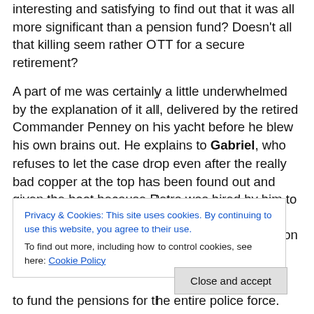interesting and satisfying to find out that it was all more significant than a pension fund? Doesn't all that killing seem rather OTT for a secure retirement?
A part of me was certainly a little underwhelmed by the explanation of it all, delivered by the retired Commander Penney on his yacht before he blew his own brains out. He explains to Gabriel, who refuses to let the case drop even after the really bad copper at the top has been found out and given the boot because Petra was hired by him to take out Gatehouse, that Counterpoint was official at first. But then after amassing £70 million through drug deals the
Privacy & Cookies: This site uses cookies. By continuing to use this website, you agree to their use.
To find out more, including how to control cookies, see here: Cookie Policy
Close and accept
to fund the pensions for the entire police force.